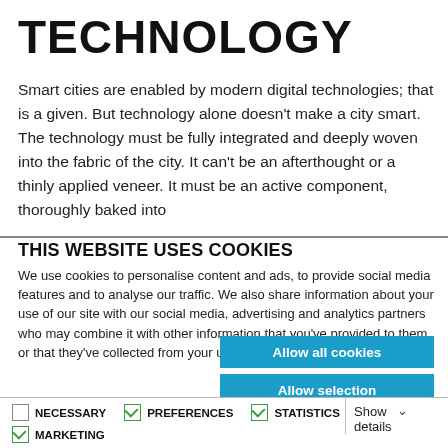TECHNOLOGY
Smart cities are enabled by modern digital technologies; that is a given. But technology alone doesn't make a city smart. The technology must be fully integrated and deeply woven into the fabric of the city. It can't be an afterthought or a thinly applied veneer. It must be an active component, thoroughly baked into
THIS WEBSITE USES COOKIES
We use cookies to personalise content and ads, to provide social media features and to analyse our traffic. We also share information about your use of our site with our social media, advertising and analytics partners who may combine it with other information that you've provided to them or that they've collected from your use of their services.
Allow all cookies
Allow selection
Use necessary cookies only
NECESSARY  PREFERENCES  STATISTICS  MARKETING  Show details